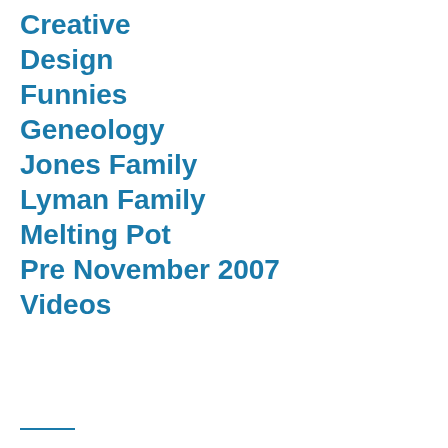Creative
Design
Funnies
Geneology
Jones Family
Lyman Family
Melting Pot
Pre November 2007
Videos
———